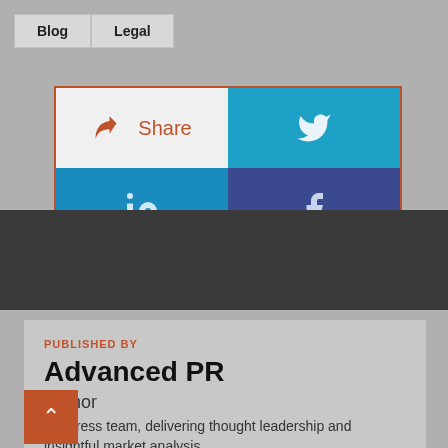Blog  Legal
[Figure (infographic): Social share buttons grid: Share (with arrow icon), Twitter (bird icon in teal), LinkedIn (in icon in blue), Facebook (f icon in dark blue)]
PUBLISHED BY
Advanced PR
Author
our press team, delivering thought leadership and insightful market analysis.